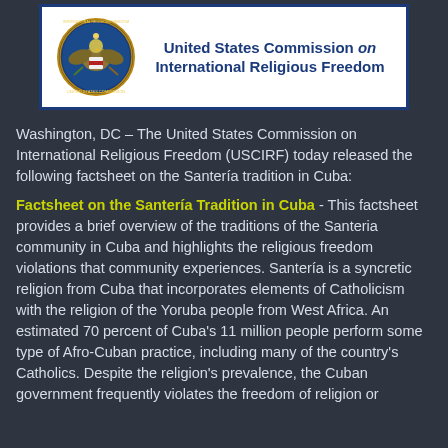[Figure (logo): United States Commission on International Religious Freedom logo with eagle seal and organization name]
Washington, DC – The United States Commission on International Religious Freedom (USCIRF) today released the following factsheet on the Santería tradition in Cuba:
Factsheet on the Santería Tradition in Cuba - This factsheet provides a brief overview of the traditions of the Santeria community in Cuba and highlights the religious freedom violations that community experiences. Santería is a syncretic religion from Cuba that incorporates elements of Catholicism with the religion of the Yoruba people from West Africa. An estimated 70 percent of Cuba's 11 million people perform some type of Afro-Cuban practice, including many of the country's Catholics. Despite the religion's prevalence, the Cuban government frequently violates the freedom of religion or